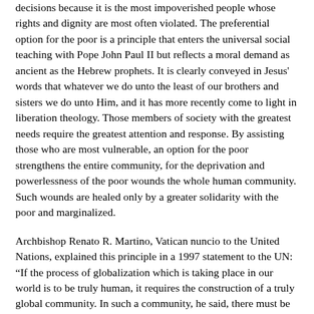decisions because it is the most impoverished people whose rights and dignity are most often violated. The preferential option for the poor is a principle that enters the universal social teaching with Pope John Paul II but reflects a moral demand as ancient as the Hebrew prophets. It is clearly conveyed in Jesus' words that whatever we do unto the least of our brothers and sisters we do unto Him, and it has more recently come to light in liberation theology. Those members of society with the greatest needs require the greatest attention and response. By assisting those who are most vulnerable, an option for the poor strengthens the entire community, for the deprivation and powerlessness of the poor wounds the whole human community. Such wounds are healed only by a greater solidarity with the poor and marginalized.
Archbishop Renato R. Martino, Vatican nuncio to the United Nations, explained this principle in a 1997 statement to the UN: “If the process of globalization which is taking place in our world is to be truly human, it requires the construction of a truly global community. In such a community, he said, there must be concern for all and especially